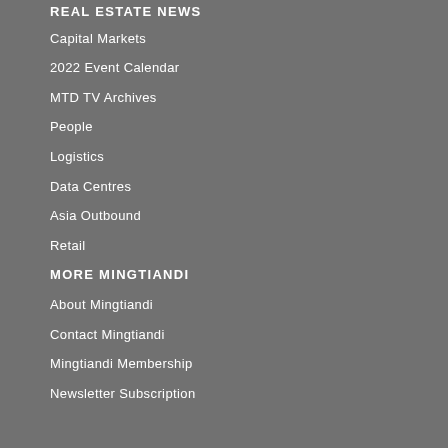REAL ESTATE NEWS
Capital Markets
2022 Event Calendar
MTD TV Archives
People
Logistics
Data Centres
Asia Outbound
Retail
MORE MINGTIANDI
About Mingtiandi
Contact Mingtiandi
Mingtiandi Membership
Newsletter Subscription